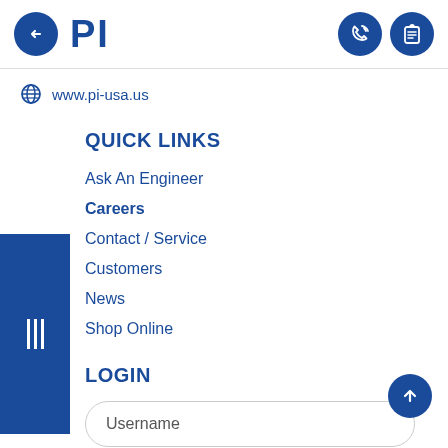PI — www.pi-usa.us
www.pi-usa.us
QUICK LINKS
Ask An Engineer
Careers
Contact / Service
Customers
News
Shop Online
LOGIN
Username